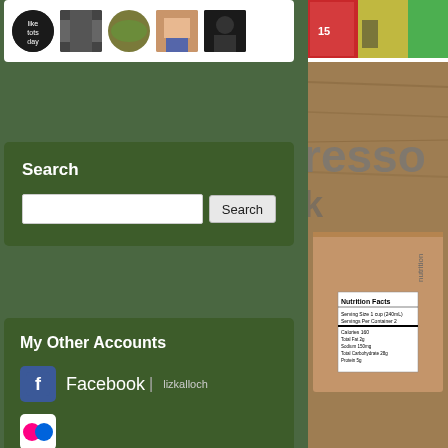[Figure (photo): Row of small thumbnail photos/avatars in a white strip]
Search
Search input box with Search button
My Other Accounts
Facebook | lizkalloch
Flickr | http://www.flickr.com/photos/lizkalloch/
LinkedIn | http://www.linkedin.com/profile?viewProfile=&key=18110352&locale=en_US&trk=tab_pro
Twitter | https://twitter.com/lizkalloch
[Figure (photo): Top right partial image showing books/items]
[Figure (photo): Brown cardboard box with 'resso' text visible and Nutrition Facts label]
I am a notebook gi journal) gets every write notes to myse notebook is full, I p
Some of my specif be subtle, they hav things in. And pape bleeding through...